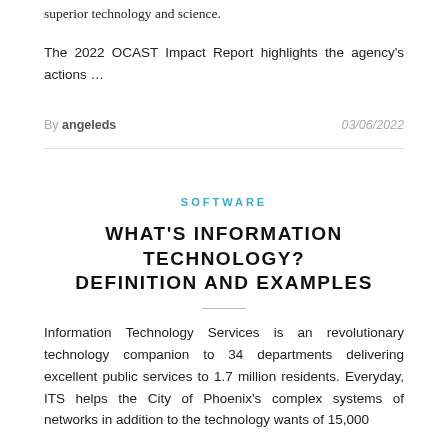superior technology and science.
The 2022 OCAST Impact Report highlights the agency's actions …
By angeleds  03/06/2022
SOFTWARE
WHAT'S INFORMATION TECHNOLOGY? DEFINITION AND EXAMPLES
Information Technology Services is an revolutionary technology companion to 34 departments delivering excellent public services to 1.7 million residents. Everyday, ITS helps the City of Phoenix's complex systems of networks in addition to the technology wants of 15,000